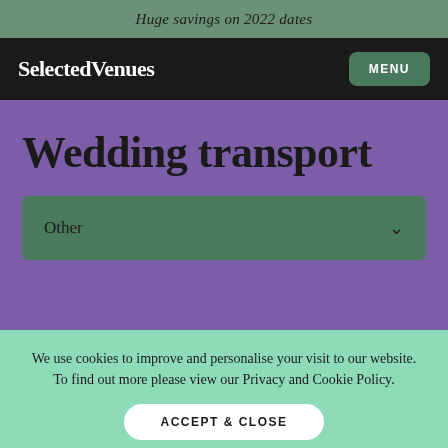Huge savings on 2022 dates
SelectedVenues
MENU
Wedding transport
Other
We use cookies to improve and personalise your visit to our website. To find out more please view our Privacy and Cookie Policy.
ACCEPT & CLOSE